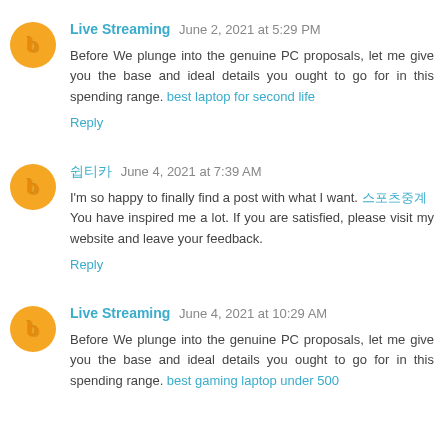Live Streaming June 2, 2021 at 5:29 PM
Before We plunge into the genuine PC proposals, let me give you the base and ideal details you ought to go for in this spending range. best laptop for second life
Reply
쉽티카 June 4, 2021 at 7:39 AM
I'm so happy to finally find a post with what I want. 스포츠중계
You have inspired me a lot. If you are satisfied, please visit my website and leave your feedback.
Reply
Live Streaming June 4, 2021 at 10:29 AM
Before We plunge into the genuine PC proposals, let me give you the base and ideal details you ought to go for in this spending range. best gaming laptop under 500